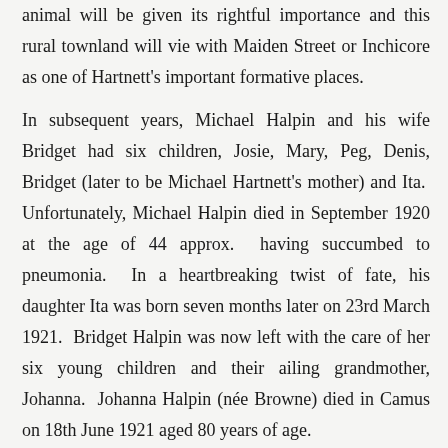animal will be given its rightful importance and this rural townland will vie with Maiden Street or Inchicore as one of Hartnett's important formative places.
In subsequent years, Michael Halpin and his wife Bridget had six children, Josie, Mary, Peg, Denis, Bridget (later to be Michael Hartnett's mother) and Ita. Unfortunately, Michael Halpin died in September 1920 at the age of 44 approx. having succumbed to pneumonia. In a heartbreaking twist of fate, his daughter Ita was born seven months later on 23rd March 1921. Bridget Halpin was now left with the care of her six young children and their ailing grandmother, Johanna. Johanna Halpin (née Browne) died in Camus on 18th June 1921 aged 80 years of age.